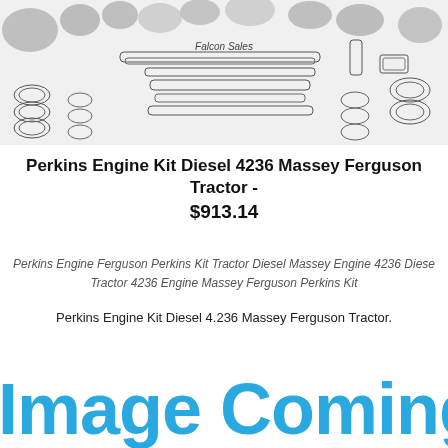[Figure (illustration): Black and white technical illustration of engine kit components including gaskets, seals, rings and other parts for Perkins 4236 diesel engine, with 'Falcon Sales' label visible]
Perkins Engine Kit Diesel 4236 Massey Ferguson Tractor - $913.14
Perkins Engine Ferguson Perkins Kit Tractor Diesel Massey Engine 4236 Diesel Tractor 4236 Engine Massey Ferguson Perkins Kit
Perkins Engine Kit Diesel 4.236 Massey Ferguson Tractor.
[Figure (illustration): Image Coming Soon placeholder text in large bold blue letters]